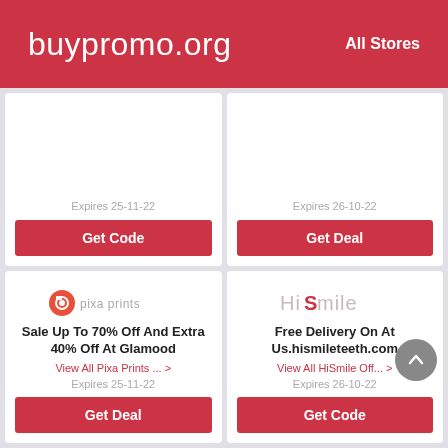buypromo.org   All Stores
Expires 25-11-22
Get Code
Expires 26-10-22
Get Deal
[Figure (logo): Pixa Prints logo with camera icon]
Sale Up To 70% Off And Extra 40% Off At Glamood
View All Pixa Prints ... >
Expires 25-11-22
Get Deal
[Figure (logo): HiSmile logo in pink/grey]
Free Delivery On At Us.hismileteeth.com
View All HiSmile Off... >
Expires 26-10-22
Get Code